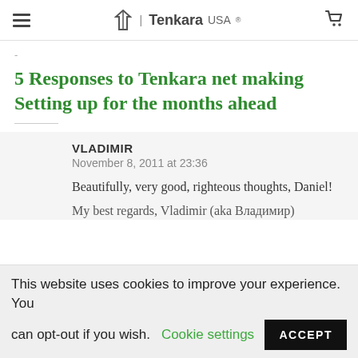Tenkara USA®
5 Responses to Tenkara net making Setting up for the months ahead
VLADIMIR
November 8, 2011 at 23:36
Beautifully, very good, righteous thoughts, Daniel!
My best regards, Vladimir (aka Владимир)
This website uses cookies to improve your experience. You can opt-out if you wish.   Cookie settings   ACCEPT